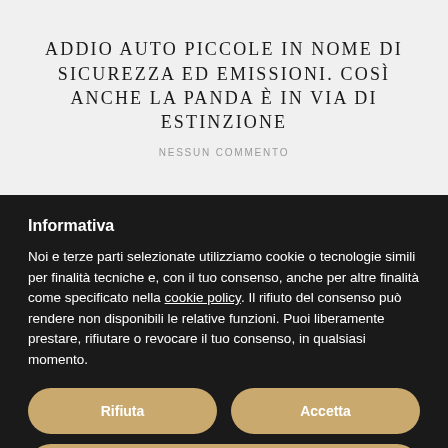ADDIO AUTO PICCOLE IN NOME DI SICUREZZA ED EMISSIONI. COSÌ ANCHE LA PANDA È IN VIA DI ESTINZIONE
NESSUN COMMENTO
Informativa
Noi e terze parti selezionate utilizziamo cookie o tecnologie simili per finalità tecniche e, con il tuo consenso, anche per altre finalità come specificato nella cookie policy. Il rifiuto del consenso può rendere non disponibili le relative funzioni. Puoi liberamente prestare, rifiutare o revocare il tuo consenso, in qualsiasi momento.
Rifiuta
Accetta
Scopri di più e personalizza